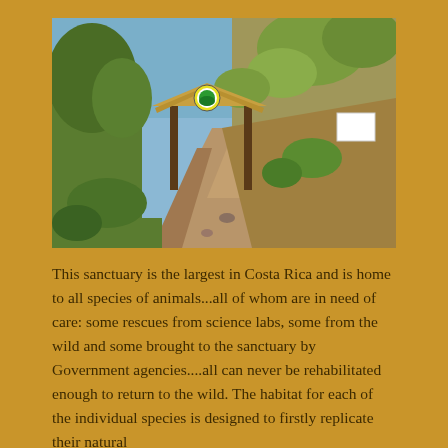[Figure (photo): Entrance to a wildlife sanctuary in Costa Rica. A dirt road leads under a wooden gate structure with a thatched roof and a colorful circular logo. Lush tropical vegetation and dry hillside trees are visible on both sides. A white sign is posted on the right hillside.]
This sanctuary is the largest in Costa Rica and is home to all species of animals...all of whom are in need of care: some rescues from science labs, some from the wild and some brought to the sanctuary by Government agencies....all can never be rehabilitated enough to return to the wild. The habitat for each of the individual species is designed to firstly replicate their natural